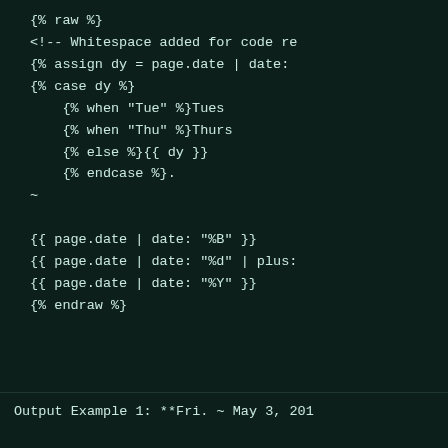{% raw %}
<!-- Whitespace added for code re...
{% assign dy = page.date | date:
{% case dy %}
    {% when "Tue" %}Tues
    {% when "Thu" %}Thurs
    {% else %}{{ dy }}
    {% endcase %}.
~
{{ page.date | date: "%B" }}
{{ page.date | date: "%d" | plus:
{{ page.date | date: "%Y" }}
{% endraw %}
Output Example 1: **Fri. ~ May 3, 201...